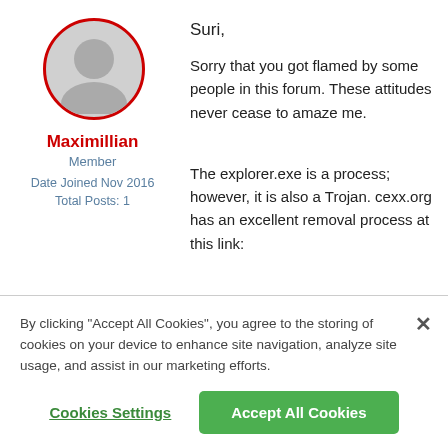[Figure (illustration): Circular avatar with red border showing a generic grey silhouette of a person]
Maximillian
Member
Date Joined Nov 2016
Total Posts: 1
Suri,
Sorry that you got flamed by some people in this forum. These attitudes never cease to amaze me.
The explorer.exe is a process; however, it is also a Trojan. cexx.org has an excellent removal process at this link:
By clicking “Accept All Cookies”, you agree to the storing of cookies on your device to enhance site navigation, analyze site usage, and assist in our marketing efforts.
Cookies Settings
Accept All Cookies